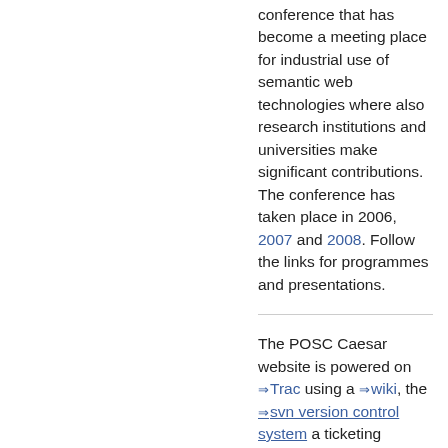conference that has become a meeting place for industrial use of semantic web technologies where also research institutions and universities make significant contributions. The conference has taken place in 2006, 2007 and 2008. Follow the links for programmes and presentations.
The POSC Caesar website is powered on Trac using a wiki, the svn version control system a ticketing system, discussion forums and more making the website a powerful and efficient tool for